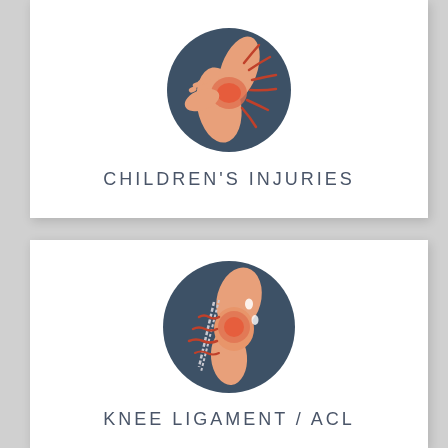[Figure (illustration): Circular illustration on dark blue background showing a hand touching an inflamed elbow/knee joint with red pain lines radiating outward, depicting a children's injury]
CHILDREN'S INJURIES
[Figure (illustration): Circular illustration on dark blue/slate background showing an inflamed knee joint with red wavy pain lines, torn ligament lines and white teardrop shapes, depicting a knee ligament / ACL injury]
KNEE LIGAMENT / ACL